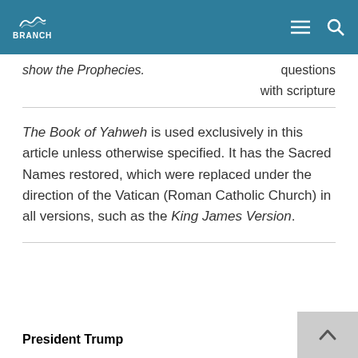BRANCH
questions show the Prophecies.
with scripture
The Book of Yahweh is used exclusively in this article unless otherwise specified. It has the Sacred Names restored, which were replaced under the direction of the Vatican (Roman Catholic Church) in all versions, such as the King James Version.
President Trump